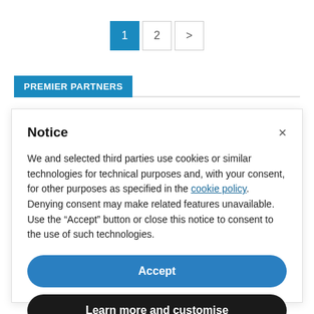Pagination: 1 (active), 2, >
PREMIER PARTNERS
Notice
We and selected third parties use cookies or similar technologies for technical purposes and, with your consent, for other purposes as specified in the cookie policy. Denying consent may make related features unavailable.
Use the “Accept” button or close this notice to consent to the use of such technologies.
Accept
Learn more and customise